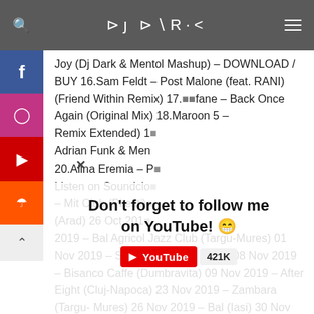DJ DARK
Joy (Dj Dark & Mentol Mashup) – DOWNLOAD / BUY 16.Sam Feldt – Post Malone (feat. RANI) (Friend Within Remix) 17.Stefane – Back Once Again (Original Mix) 18.Maroon 5 – [Remix Extended] 19. Adrian Funk & Men... 20.Alina Eremia – P... Listen on Soundclo... – Mit Club (Pitesti) (Arad) 26 Oct 2019 2019 – Bal Agricol Jazz Club (Targu-Mures) 01 Nov 2019 – Score Pub (Satu Mare) 08 Nov 2019 – Bisanco Caffe (Dumbravita) 09 Nov 2019 – After Eight (Cluj-Napoca) 23 Nov 2019 – Zambara (Targu-Mures) 26 Nov 2019 – Bal (Iasi) 30 Nov 2019 –
[Figure (screenshot): Don't forget to follow me on YouTube! popup with YouTube badge showing 421K subscribers]